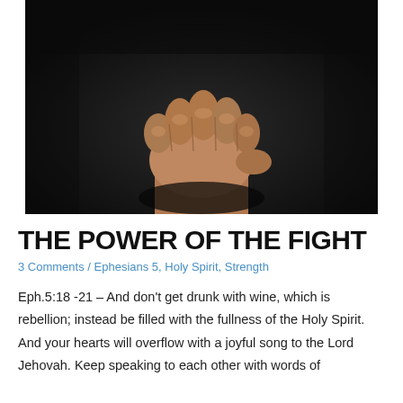[Figure (photo): A raised clenched fist against a dark background, photographed from below, showing the underside and fingers curled inward.]
THE POWER OF THE FIGHT
3 Comments / Ephesians 5, Holy Spirit, Strength
Eph.5:18 -21 – And don't get drunk with wine, which is rebellion; instead be filled with the fullness of the Holy Spirit. And your hearts will overflow with a joyful song to the Lord Jehovah. Keep speaking to each other with words of